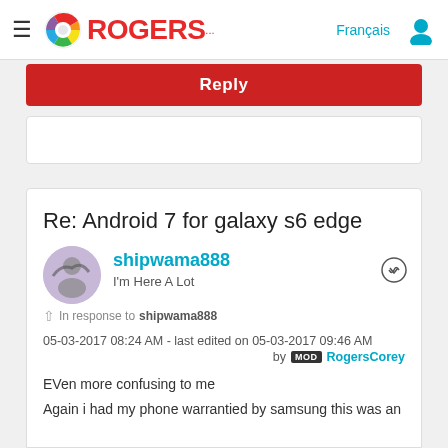ROGERS — Français
[Figure (screenshot): Rogers logo with multicolor circular icon and red ROGERS text]
Reply
Re: Android 7 for galaxy s6 edge
shipwama888
I'm Here A Lot
In response to shipwama888
05-03-2017 08:24 AM - last edited on 05-03-2017 09:46 AM
by MOD RogersCorey
EVen more confusing to me
Again i had my phone warrantied by samsung this was an